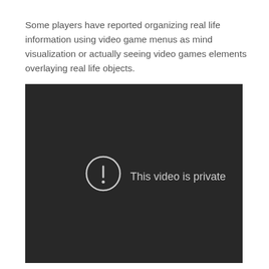Some players have reported organizing real life information using video game menus as mind visualization or actually seeing video games elements overlaying real life objects.
[Figure (screenshot): A dark video player embed showing a 'This video is private' message with a circle exclamation icon in the center.]